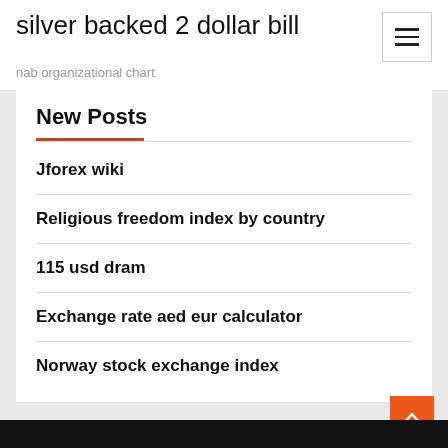silver backed 2 dollar bill
nab organizational chart
New Posts
Jforex wiki
Religious freedom index by country
115 usd dram
Exchange rate aed eur calculator
Norway stock exchange index